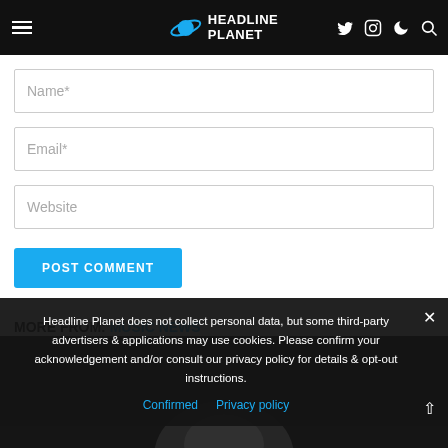Headline Planet
Name*
Email*
Website
POST COMMENT
MORE FROM: MUSIC NEWS
[Figure (photo): Dark image strip with partial face visible at bottom of page]
Headline Planet does not collect personal data, but some third-party advertisers & applications may use cookies. Please confirm your acknowledgement and/or consult our privacy policy for details & opt-out instructions.
Confirmed  Privacy policy